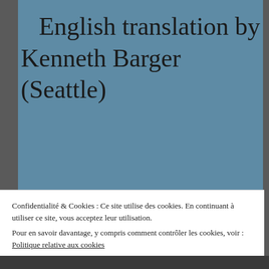English translation by Kenneth Barger (Seattle)
Confidentialité & Cookies : Ce site utilise des cookies. En continuant à utiliser ce site, vous acceptez leur utilisation.
Pour en savoir davantage, y compris comment contrôler les cookies, voir : Politique relative aux cookies
Fermer et accepter